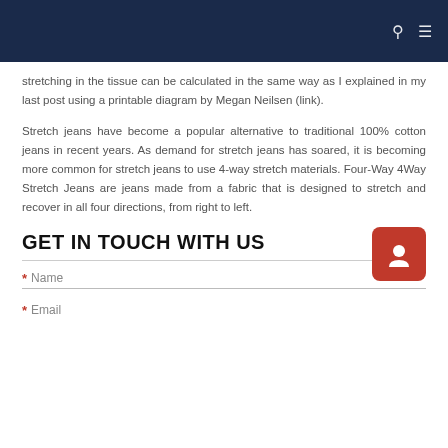stretching in the tissue can be calculated in the same way as I explained in my last post using a printable diagram by Megan Neilsen (link).
Stretch jeans have become a popular alternative to traditional 100% cotton jeans in recent years. As demand for stretch jeans has soared, it is becoming more common for stretch jeans to use 4-way stretch materials. Four-Way 4Way Stretch Jeans are jeans made from a fabric that is designed to stretch and recover in all four directions, from right to left.
GET IN TOUCH WITH US
* Name
* Email